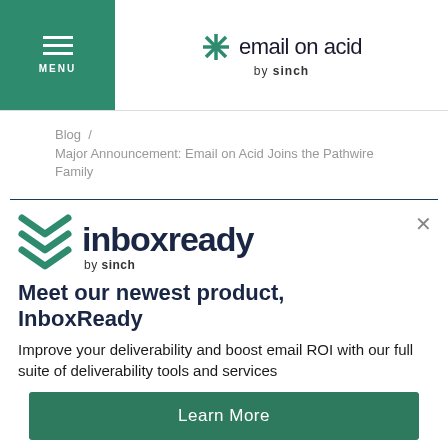MENU | email on acid by sinch
Blog / Major Announcement: Email on Acid Joins the Pathwire Family
[Figure (logo): InboxReady by Sinch logo with green chevron marks and dark navy wordmark]
Meet our newest product, InboxReady
Improve your deliverability and boost email ROI with our full suite of deliverability tools and services
Learn More